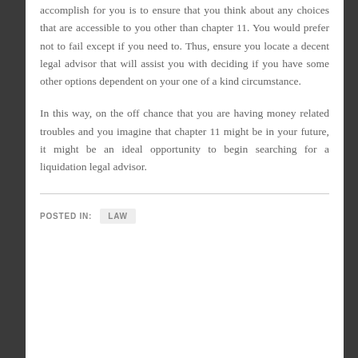accomplish for you is to ensure that you think about any choices that are accessible to you other than chapter 11. You would prefer not to fail except if you need to. Thus, ensure you locate a decent legal advisor that will assist you with deciding if you have some other options dependent on your one of a kind circumstance.
In this way, on the off chance that you are having money related troubles and you imagine that chapter 11 might be in your future, it might be an ideal opportunity to begin searching for a liquidation legal advisor.
POSTED IN: LAW